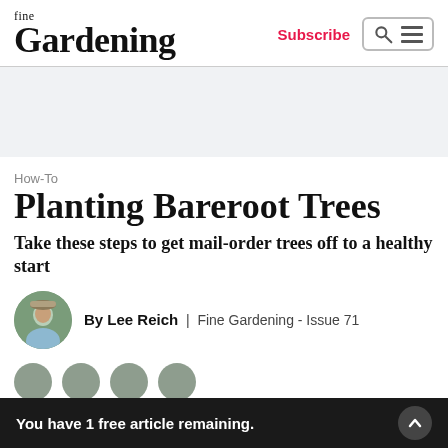fine Gardening | Subscribe
[Figure (other): Advertisement banner placeholder, light grey background]
How-To
Planting Bareroot Trees
Take these steps to get mail-order trees off to a healthy start
By Lee Reich | Fine Gardening - Issue 71
You have 1 free article remaining.